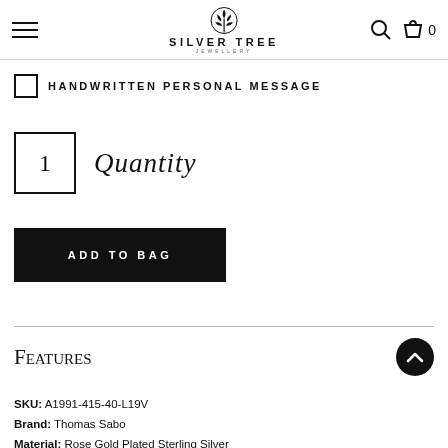Silver Tree Jewellery
HANDWRITTEN PERSONAL MESSAGE
1  Quantity
ADD TO BAG
Features
SKU: A1991-415-40-L19V
Brand: Thomas Sabo
Material: Rose Gold Plated Sterling Silver